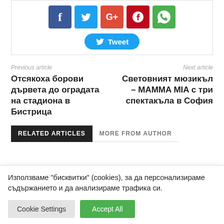[Figure (screenshot): Social media share buttons: Facebook (blue), Twitter (light blue), Google+ (red-orange), Pinterest (dark red), WhatsApp (green), plus a Twitter Tweet button]
Previous article
Next article
Отсякоха борови дървета до оградата на стадиона в Бистрица
Световният мюзикъл – MAMMA MIA с три спектакъла в София
RELATED ARTICLES
MORE FROM AUTHOR
Използваме "бисквитки" (cookies), за да персонализираме съдържанието и да анализираме трафика си.
Cookie Settings
Accept All